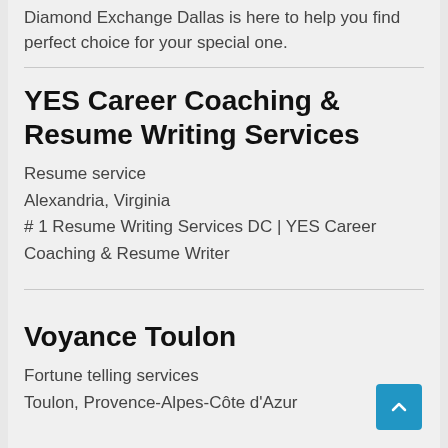Diamond Exchange Dallas is here to help you find perfect choice for your special one.
YES Career Coaching & Resume Writing Services
Resume service
Alexandria, Virginia
# 1 Resume Writing Services DC | YES Career Coaching & Resume Writer
Voyance Toulon
Fortune telling services
Toulon, Provence-Alpes-Côte d'Azur